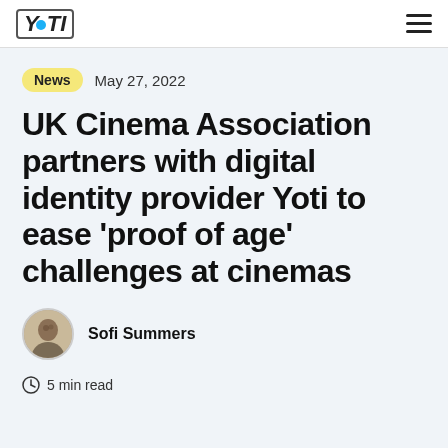YOTI
News  May 27, 2022
UK Cinema Association partners with digital identity provider Yoti to ease ‘proof of age’ challenges at cinemas
Sofi Summers
5 min read